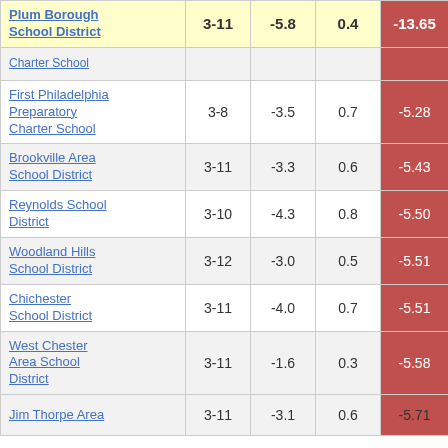| School/District | Grades | Col3 | Col4 | Score |
| --- | --- | --- | --- | --- |
| Plum Borough School District | 3-11 | -5.8 | 0.4 | -13.65 |
| [Charter School - cut] |  |  |  |  |
| First Philadelphia Preparatory Charter School | 3-8 | -3.5 | 0.7 | -5.28 |
| Brookville Area School District | 3-11 | -3.3 | 0.6 | -5.43 |
| Reynolds School District | 3-10 | -4.3 | 0.8 | -5.50 |
| Woodland Hills School District | 3-12 | -3.0 | 0.5 | -5.51 |
| Chichester School District | 3-11 | -4.0 | 0.7 | -5.51 |
| West Chester Area School District | 3-11 | -1.6 | 0.3 | -5.58 |
| Jim Thorpe Area [cut] | 3-11 | -3.1 | 0.6 | -5.71 |